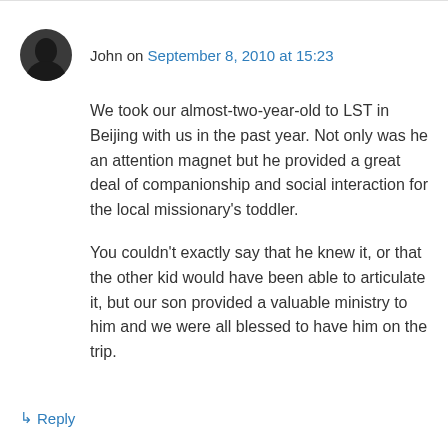John on September 8, 2010 at 15:23
We took our almost-two-year-old to LST in Beijing with us in the past year. Not only was he an attention magnet but he provided a great deal of companionship and social interaction for the local missionary's toddler.
You couldn't exactly say that he knew it, or that the other kid would have been able to articulate it, but our son provided a valuable ministry to him and we were all blessed to have him on the trip.
↳ Reply